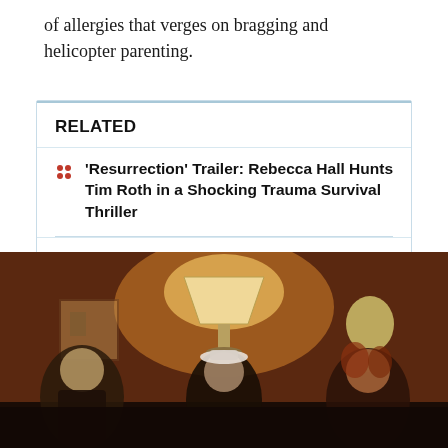of allergies that verges on bragging and helicopter parenting.
RELATED
'Resurrection' Trailer: Rebecca Hall Hunts Tim Roth in a Shocking Trauma Survival Thriller
Elle Fanning Rules 'The Great' and 'Girl from Plainville' -- Long May She Reign
[Figure (photo): Three women in a dimly lit, warmly lit room with a glowing lamp in the background. Left: blonde woman, center: dark-haired woman with white hat, right: red-haired woman. Dark dramatic lighting with warm amber tones.]